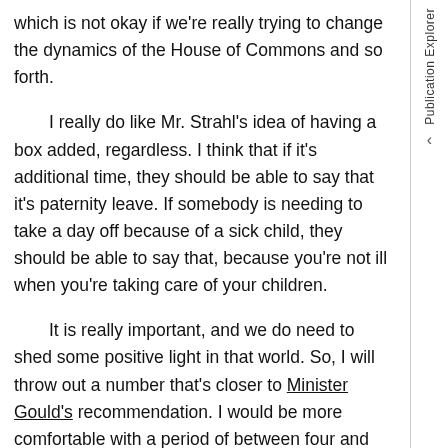which is not okay if we're really trying to change the dynamics of the House of Commons and so forth.
I really do like Mr. Strahl's idea of having a box added, regardless. I think that if it's additional time, they should be able to say that it's paternity leave. If somebody is needing to take a day off because of a sick child, they should be able to say that, because you're not ill when you're taking care of your children.
It is really important, and we do need to shed some positive light in that world. So, I will throw out a number that's closer to Minister Gould's recommendation. I would be more comfortable with a period of between four and five and half months, but less than six months.
Publication Explorer